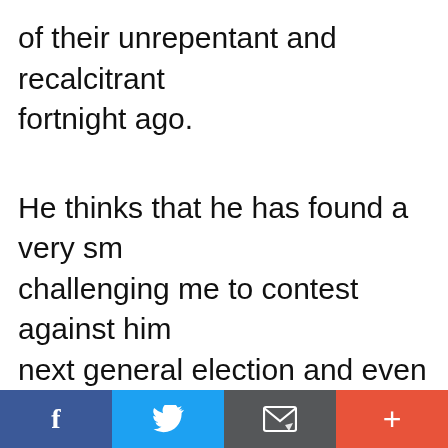of their unrepentant and recalcitrant fortnight ago.
He thinks that he has found a very sm challenging me to contest against him next general election and even offerim front-page treatment in Sabah newsp
He cannot be more wrong or naive to national and international attention f male chauvinism in Parliament on Ma
f  [twitter]  [email]  +